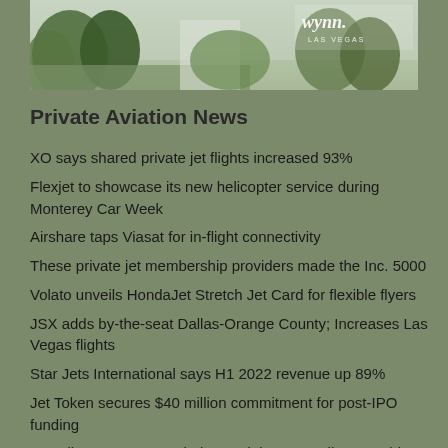[Figure (photo): Scenic outdoor photo with greenery and waterfall/garden elements, with Wynn Las Vegas logo in top right corner]
Private Aviation News
XO says shared private jet flights increased 93%
Flexjet to showcase its new helicopter service during Monterey Car Week
Airshare taps Viasat for in-flight connectivity
These private jet membership providers made the Inc. 5000
Volato unveils HondaJet Stretch Jet Card for flexible flyers
JSX adds by-the-seat Dallas-Orange County; Increases Las Vegas flights
Star Jets International says H1 2022 revenue up 89%
Jet Token secures $40 million commitment for post-IPO funding
Magellan Jets cuts peak days, minimums, call-outs; adds Europe
Fractional operator Volato adds aircraft management